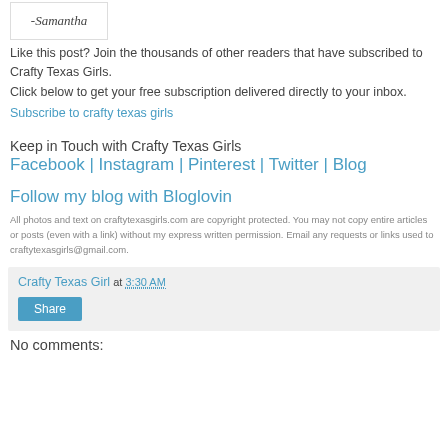[Figure (illustration): Handwritten cursive signature '- Samantha' in a bordered box]
Like this post? Join the thousands of other readers that have subscribed to Crafty Texas Girls.
Click below to get your free subscription delivered directly to your inbox.
Subscribe to crafty texas girls
Keep in Touch with Crafty Texas Girls
Facebook | Instagram | Pinterest | Twitter | Blog
Follow my blog with Bloglovin
All photos and text on craftytexasgirls.com are copyright protected. You may not copy entire articles or posts (even with a link) without my express written permission. Email any requests or links used to craftytexasgirls@gmail.com.
Crafty Texas Girl at 3:30 AM
Share
No comments: